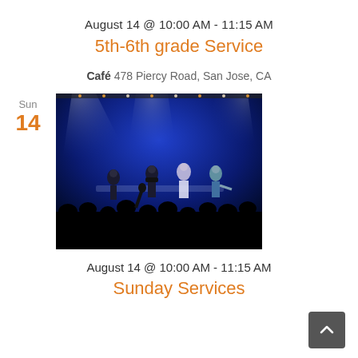August 14 @ 10:00 AM - 11:15 AM
5th-6th grade Service
Café 478 Piercy Road, San Jose, CA
[Figure (photo): Concert/worship service photo showing performers on a stage with blue lighting, spotlights, and a silhouetted audience in the foreground. Several singers and musicians are visible on stage.]
August 14 @ 10:00 AM - 11:15 AM
Sunday Services